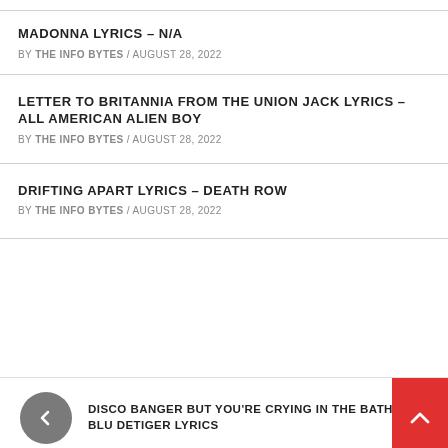MADONNA LYRICS – N/A
BY THE INFO BYTES / AUGUST 28, 2022
LETTER TO BRITANNIA FROM THE UNION JACK LYRICS – ALL AMERICAN ALIEN BOY
BY THE INFO BYTES / AUGUST 28, 2022
DRIFTING APART LYRICS – DEATH ROW
BY THE INFO BYTES / AUGUST 28, 2022
DISCO BANGER BUT YOU'RE CRYING IN THE BATHROOM – BLU DETIGER LYRICS